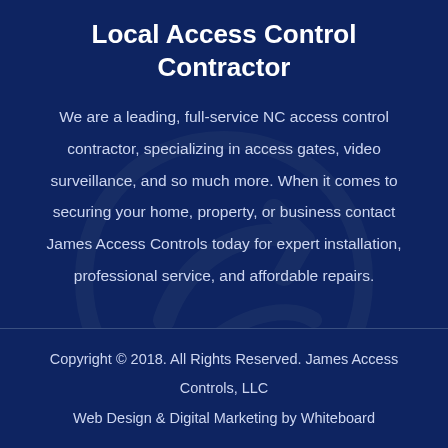Local Access Control Contractor
We are a leading, full-service NC access control contractor, specializing in access gates, video surveillance, and so much more. When it comes to securing your home, property, or business contact James Access Controls today for expert installation, professional service, and affordable repairs.
[Figure (logo): Watermark logo of James Access Controls showing a stylized arrow/swirl symbol in dark blue-gray tones]
Copyright © 2018. All Rights Reserved. James Access Controls, LLC
Web Design & Digital Marketing by Whiteboard